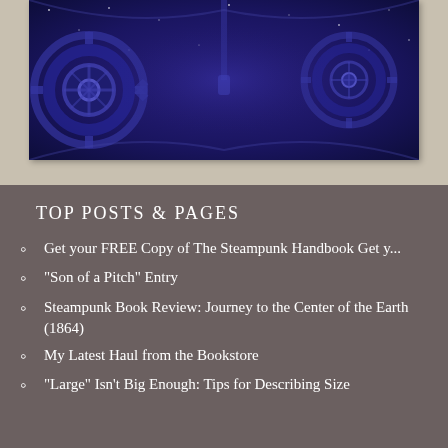[Figure (photo): A blue-toned steampunk-themed image with gears and mechanical elements against a dark starry background, displayed in a white-bordered frame]
TOP POSTS & PAGES
Get your FREE Copy of The Steampunk Handbook Get y...
"Son of a Pitch" Entry
Steampunk Book Review: Journey to the Center of the Earth (1864)
My Latest Haul from the Bookstore
"Large" Isn't Big Enough: Tips for Describing Size